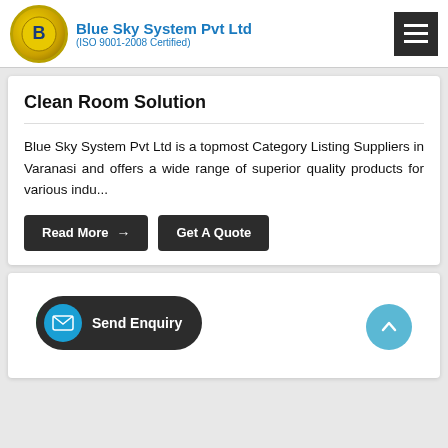Blue Sky System Pvt Ltd (ISO 9001-2008 Certified)
Clean Room Solution
Blue Sky System Pvt Ltd is a topmost Category Listing Suppliers in Varanasi and offers a wide range of superior quality products for various indu...
[Figure (screenshot): Read More button with arrow and Get A Quote button, dark background]
[Figure (screenshot): WhatsApp icon (green circle), Send Enquiry pill button (dark with blue mail icon), and blue up-arrow scroll button]